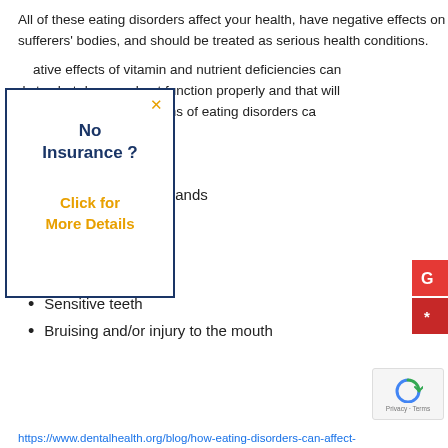All of these eating disorders affect your health, have negative effects on sufferers' bodies, and should be treated as serious health conditions.
...the negative effects of vitamin and nutrient deficiencies can cause the body to shut down and not function properly and that will be reflected in the mouth. Oral signs of eating disorders ca...
Enamel erosion
Dry mouth
Enlarged salivary glands
Cracked/dry lips
Mouth sores
Tooth decay
Sensitive teeth
Bruising and/or injury to the mouth
https://www.dentalhealth.org/blog/how-eating-disorders-can-affect-